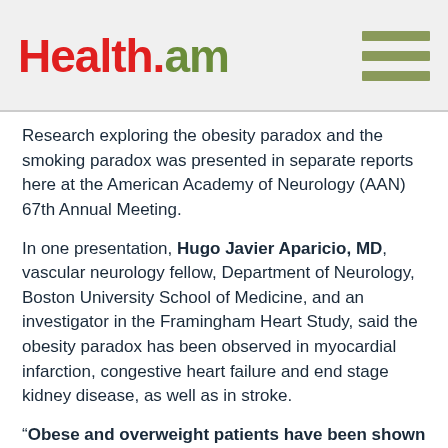Health.am
Research exploring the obesity paradox and the smoking paradox was presented in separate reports here at the American Academy of Neurology (AAN) 67th Annual Meeting.
In one presentation, Hugo Javier Aparicio, MD, vascular neurology fellow, Department of Neurology, Boston University School of Medicine, and an investigator in the Framingham Heart Study, said the obesity paradox has been observed in myocardial infarction, congestive heart failure and end stage kidney disease, as well as in stroke.
“Obese and overweight patients have been shown to have lower mortality and also suffer lower stroke recurrence,” he said.